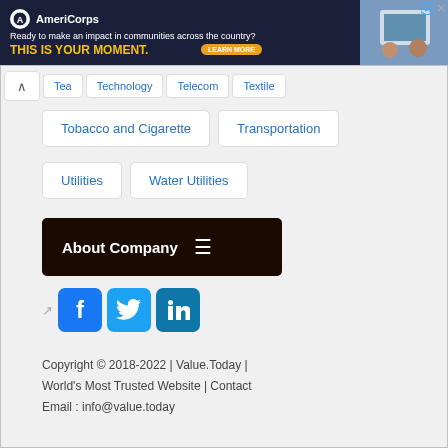[Figure (screenshot): AmeriCorps advertisement banner: dark navy background with AmeriCorps logo, tagline 'Ready to make an impact in communities across the country?', headline 'THIS IS YOUR MOMENT.' in yellow, and a photo of people on the right side.]
Tea
Technology
Telecom
Textile
Tobacco and Cigarette
Transportation
Utilities
Water Utilities
About Company ≡
Copyright © 2018-2022 | Value.Today | World's Most Trusted Website | Contact Email : info@value.today